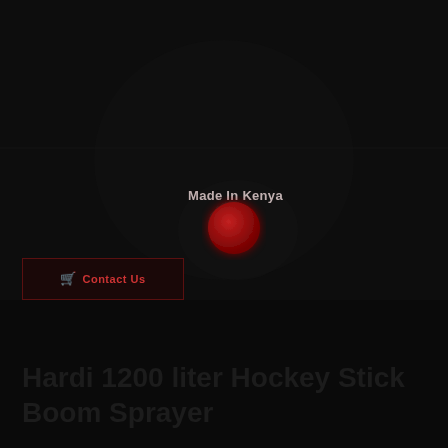[Figure (map): Dark map showing Kenya location with a red dot marker and 'Made In Kenya' label]
Contact Us
Hardi 1200 liter Hockey Stick Boom Sprayer